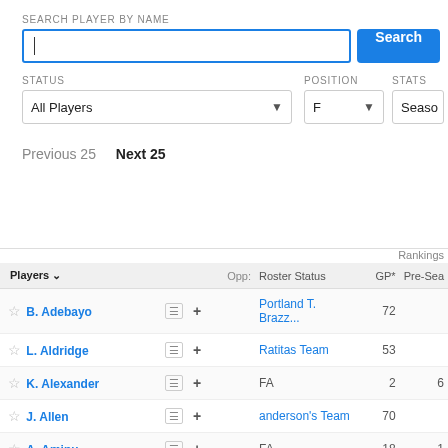SEARCH PLAYER BY NAME
[Figure (screenshot): Search input box with text cursor and blue Search button]
STATUS | POSITION | STATS
[Figure (screenshot): Filter dropdowns: All Players (STATUS), F (POSITION), Season (STATS)]
Previous 25   Next 25
| Players |  |  | Opp: | Roster Status | GP* | Pre-Sea |
| --- | --- | --- | --- | --- | --- | --- |
| B. Adebayo | ≡ | + |  | Portland T. Brazz... | 72 |  |
| L. Aldridge | ≡ | + |  | Ratitas Team | 53 |  |
| K. Alexander | ≡ | + |  | FA | 2 | 6 |
| J. Allen | ≡ | + |  | anderson's Team | 70 |  |
| A. Aminu | ≡ | + |  | FA | 18 | 1 |